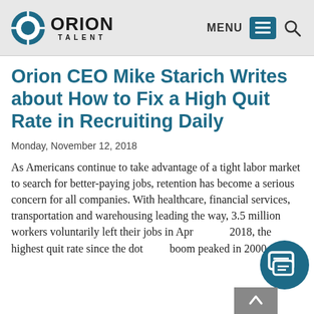ORION TALENT — MENU
Orion CEO Mike Starich Writes about How to Fix a High Quit Rate in Recruiting Daily
Monday, November 12, 2018
As Americans continue to take advantage of a tight labor market to search for better-paying jobs, retention has become a serious concern for all companies. With healthcare, financial services, transportation and warehousing leading the way, 3.5 million workers voluntarily left their jobs in April 2018, the highest quit rate since the dotcom boom peaked in 2000.